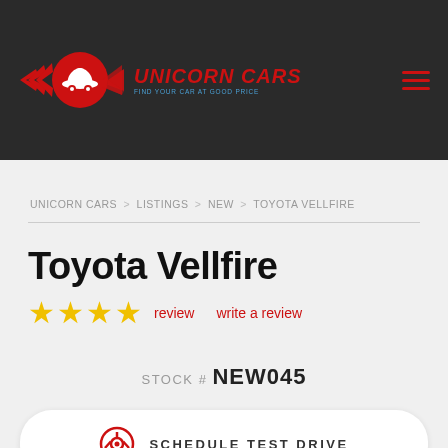[Figure (logo): Unicorn Cars logo with red winged car emblem and text 'UNICORN CARS' in red italic with blue tagline underneath]
UNICORN CARS > LISTINGS > NEW > TOYOTA VELLFIRE
Toyota Vellfire
★★★★ review   write a review
STOCK # NEW045
SCHEDULE TEST DRIVE